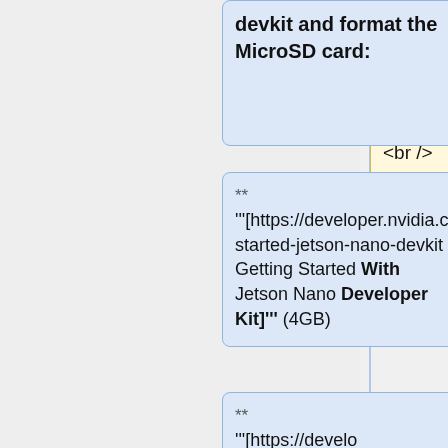Getting Started with Jetson Nano Guide]''' to setup your devkit and format the MicroSD card. <br />
devkit and format the MicroSD card:
** '''[https://developer.nvidia.com/embedded/learn/get-started-jetson-nano-devkit Getting Started With Jetson Nano Developer Kit]''' (4GB)
** '''[https://developer.nvidia.com/embedded/learn